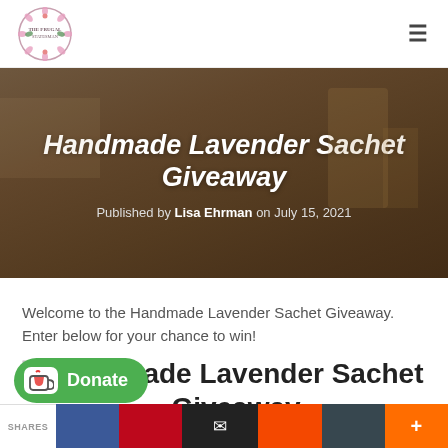The Frugal Statesman — site header with logo and hamburger menu
[Figure (photo): Hero banner with dark overlay over a room interior showing a bed, wooden stool, and plant]
Handmade Lavender Sachet Giveaway
Published by Lisa Ehrman on July 15, 2021
Welcome to the Handmade Lavender Sachet Giveaway. Enter below for your chance to win!
Handmade Lavender Sachet Giveaway
[Figure (logo): Donate button with Ko-fi cup icon]
SHARES — share bar with Facebook, Pinterest, Email, and other share buttons